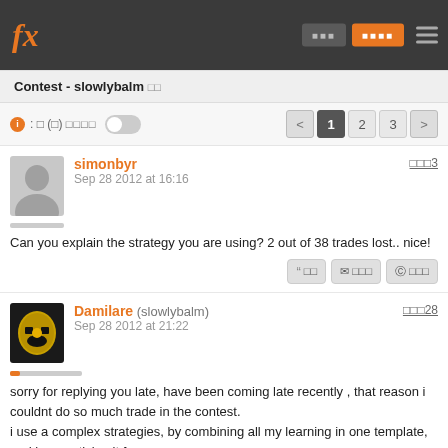fx [nav buttons] [hamburger]
Contest - slowlybalm 로그
ⓘ : 0 (0) 모든댓글 [toggle]   < 1 2 3 >
simonbyr
Sep 28 2012 at 16:16
포스트3
Can you explain the strategy you are using? 2 out of 38 trades lost.. nice!
Damilare (slowlybalm)
Sep 28 2012 at 21:22
포스트28
sorry for replying you late, have been coming late recently , that reason i couldnt do so much trade in the contest.
i use a complex strategies, by combining all my learning in one template, and be practising it for years now........
this is my strategies.......